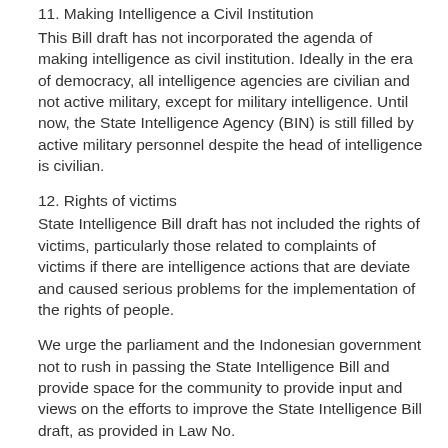11. Making Intelligence a Civil Institution
This Bill draft has not incorporated the agenda of making intelligence as civil institution. Ideally in the era of democracy, all intelligence agencies are civilian and not active military, except for military intelligence. Until now, the State Intelligence Agency (BIN) is still filled by active military personnel despite the head of intelligence is civilian.
12. Rights of victims
State Intelligence Bill draft has not included the rights of victims, particularly those related to complaints of victims if there are intelligence actions that are deviate and caused serious problems for the implementation of the rights of people.
We urge the parliament and the Indonesian government not to rush in passing the State Intelligence Bill and provide space for the community to provide input and views on the efforts to improve the State Intelligence Bill draft, as provided in Law No.